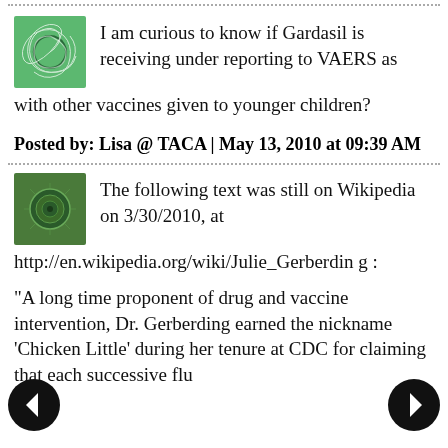I am curious to know if Gardasil is receiving under reporting to VAERS as with other vaccines given to younger children?
Posted by: Lisa @ TACA | May 13, 2010 at 09:39 AM
The following text was still on Wikipedia on 3/30/2010, at http://en.wikipedia.org/wiki/Julie_Gerberding :
"A long time proponent of drug and vaccine intervention, Dr. Gerberding earned the nickname ‘Chicken Little’ during her tenure at CDC for claiming that each successive flu